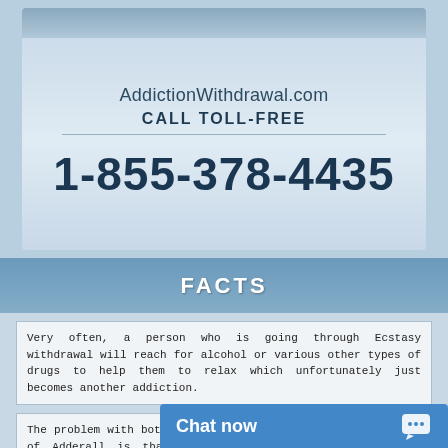[Figure (infographic): Advertisement banner for AddictionWithdrawal.com showing website name, CALL TOLL-FREE text, and phone number 1-855-378-4435 on a blue-grey gradient background]
FACTS
Very often, a person who is going through Ecstasy withdrawal will reach for alcohol or various other types of drugs to help them to relax which unfortunately just becomes another addiction.
The problem with both recreational abuse and legitimate use of Adderall is that dependent users need lar... desired effects.
Chat now